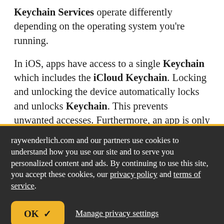Keychain Services operate differently depending on the operating system you're running.
In iOS, apps have access to a single Keychain which includes the iCloud Keychain. Locking and unlocking the device automatically locks and unlocks Keychain. This prevents unwanted accesses. Furthermore, an app is only able to access
raywenderlich.com and our partners use cookies to understand how you use our site and to serve you personalized content and ads. By continuing to use this site, you accept these cookies, our privacy policy and terms of service.
OK ✓   Manage privacy settings